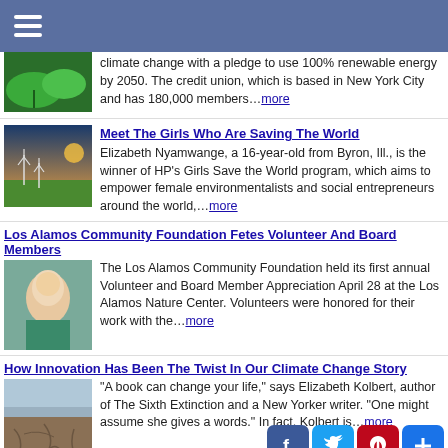≡
climate change with a pledge to use 100% renewable energy by 2050. The credit union, which is based in New York City and has 180,000 members...more
Meet The Girls Who Are Saving The World
Elizabeth Nyamwange, a 16-year-old from Byron, Ill., is the winner of HP's Girls Save the World program, which aims to empower female environmentalists and social entrepreneurs around the world,...more
Los Alamos Community Foundation Fetes Volunteer And Board Members
The Los Alamos Community Foundation held its first annual Volunteer and Board Member Appreciation April 28 at the Los Alamos Nature Center. Volunteers were honored for their work with the...more
How Innovation Has Been The Twist In Our Climate Change Story
"A book can change your life," says Elizabeth Kolbert, author of The Sixth Extinction and a New Yorker writer. "One might assume she gives a words." In fact, Kolbert is...more